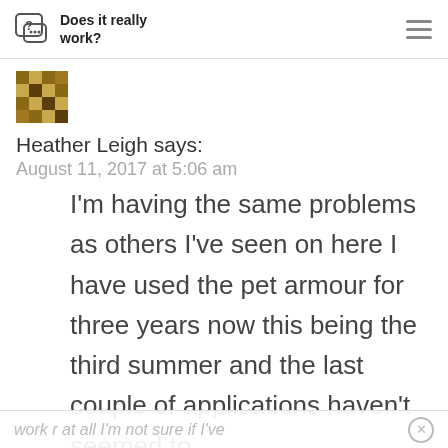Does it really work?
[Figure (illustration): Avatar/profile icon — decorative geometric mosaic pattern in gold/brown tones]
Heather Leigh says:
August 11, 2017 at 5:06 am
I'm having the same problems as others I've seen on here I have used the pet armour for three years now this being the third summer and the last couple of applications haven't seemed to
work r at all I'm not sure if I've